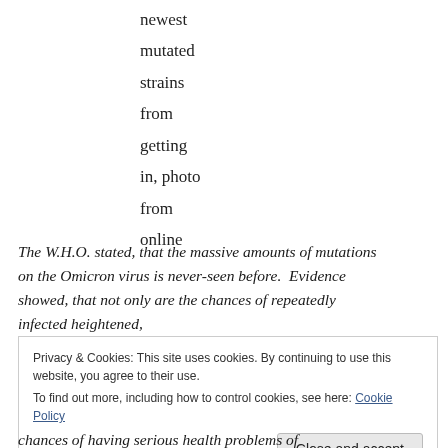newest
mutated
strains
from
getting
in, photo
from
online
The W.H.O. stated, that the massive amounts of mutations on the Omicron virus is never-seen before.  Evidence showed, that not only are the chances of repeatedly infected heightened,
Privacy & Cookies: This site uses cookies. By continuing to use this website, you agree to their use.
To find out more, including how to control cookies, see here: Cookie Policy
chances of having serious health problems of